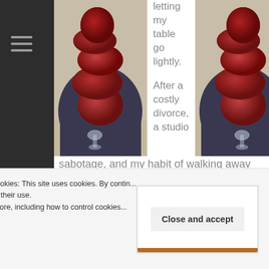[Figure (photo): Sculpture made of stacked dark red/maroon organic rounded forms on a dark cloth-draped table, with a glass goblet at the base — left photo]
letting my table go lightly.

After a costly divorce, a studio
[Figure (photo): Sculpture made of stacked dark red/maroon organic rounded forms on a dark cloth-draped table, with a glass goblet at the base — right photo]
sabotage, and my habit of walking away from
Privacy & Cookies: This site uses cookies. By contin... you agree to their use.
To find out more, including how to control cookies...
Close and accept